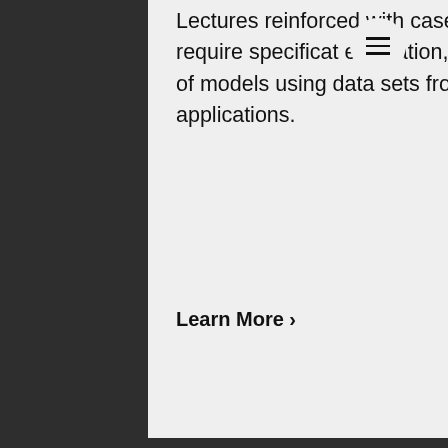Lectures reinforced with case studies, which require specificat estimation, testing, and analysis of models using data sets from actual applications.
Learn More >
Resilient Infrastructure Networks
1.208
Control algorithms and game-theoretic tools to enable resilient operation of large-scale infrastructure networks. Dynamical network flow models, stability analysis, robust predictive control